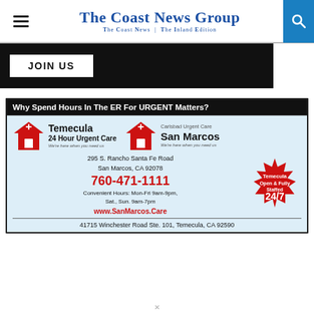The Coast News Group — The Coast News | The Inland Edition
[Figure (screenshot): JOIN US black banner with white button]
[Figure (infographic): Advertisement for Temecula 24 Hour Urgent Care / Carlsbad Urgent Care San Marcos. Why Spend Hours In The ER For URGENT Matters? 295 S. Rancho Santa Fe Road, San Marcos, CA 92078. 760-471-1111. Convenient Hours: Mon-Fri 9am-9pm, Sat., Sun. 9am-7pm. www.SanMarcos.Care. Temecula Open & Fully Staffed 24/7. 41715 Winchester Road Ste. 101, Temecula, CA 92590.]